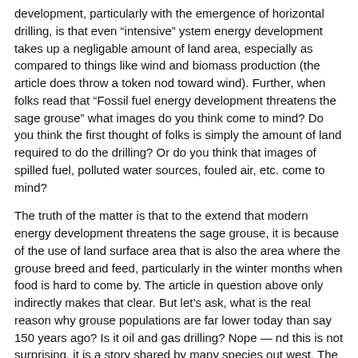development, particularly with the emergence of horizontal drilling, is that even "intensive" ystem energy development takes up a negligable amount of land area, especially as compared to things like wind and biomass production (the article does throw a token nod toward wind). Further, when folks read that "Fossil fuel energy development threatens the sage grouse" what images do you think come to mind? Do you think the first thought of folks is simply the amount of land required to do the drilling? Or do you think that images of spilled fuel, polluted water sources, fouled air, etc. come to mind?
The truth of the matter is that to the extend that modern energy development threatens the sage grouse, it is because of the use of land surface area that is also the area where the grouse breed and feed, particularly in the winter months when food is hard to come by. The article in question above only indirectly makes that clear. But let's ask, what is the real reason why grouse populations are far lower today than say 150 years ago? Is it oil and gas drilling? Nope — nd this is not surprising, it is a story shared by many species out west. The reason for the decline is massive alterations in the habitat of the grouse, in particular the decline of the sagebrush steppe ecosystem that is so important for this bird and others. A similar history exists on the Kaibab plateau and the deer populations